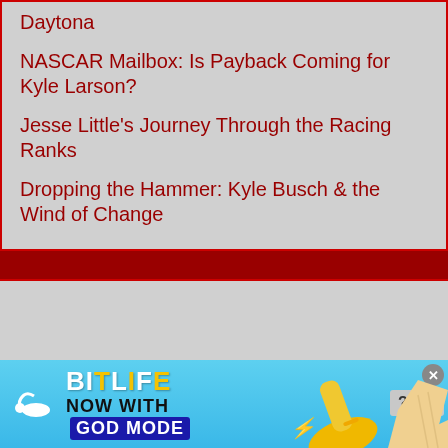Daytona
NASCAR Mailbox: Is Payback Coming for Kyle Larson?
Jesse Little's Journey Through the Racing Ranks
Dropping the Hammer: Kyle Busch & the Wind of Change
[Figure (screenshot): BitLife advertisement banner with 'NOW WITH GOD MODE' text, thumbs up icon, and pointing hand graphic]